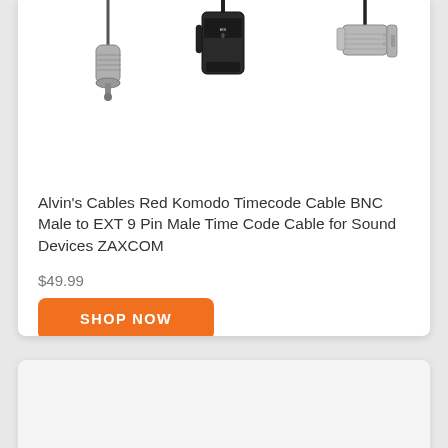[Figure (photo): Product image showing three cable connectors: a silver EXT 9-pin male connector on the left, a black Sound Devices branded clip/connector in the center, and a silver BNC male connector on the right.]
Alvin's Cables Red Komodo Timecode Cable BNC Male to EXT 9 Pin Male Time Code Cable for Sound Devices ZAXCOM
$49.99
SHOP NOW